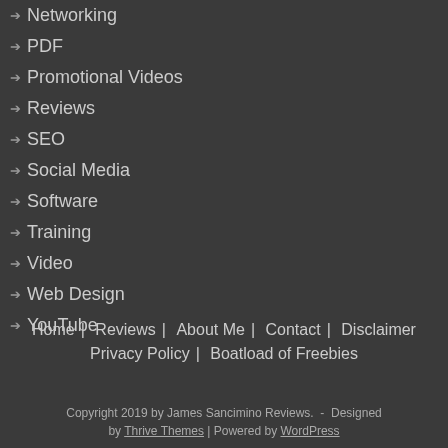Networking
PDF
Promotional Videos
Reviews
SEO
Social Media
Software
Training
Video
Web Design
YouTube
Home  Reviews  About Me  Contact  Disclaimer  Privacy Policy  Boatload of Freebies  Copyright 2019 by James Sancimino Reviews.  -  Designed by Thrive Themes | Powered by WordPress